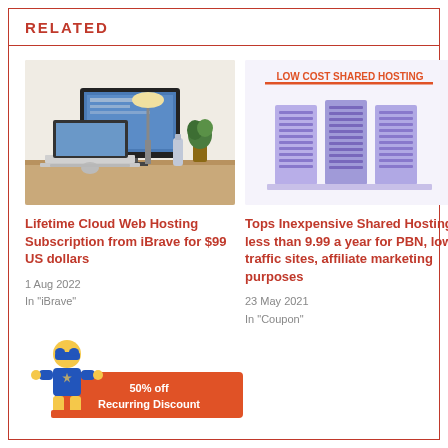RELATED
[Figure (photo): Photo of a desktop/laptop computer setup on a wooden desk with plants and accessories]
Lifetime Cloud Web Hosting Subscription from iBrave for $99 US dollars
1 Aug 2022
In "iBrave"
[Figure (illustration): Illustration of server racks with 'LOW COST SHARED HOSTING' text in orange above them]
Tops Inexpensive Shared Hosting less than 9.99 a year for PBN, low traffic sites, affiliate marketing purposes
23 May 2021
In "Coupon"
[Figure (illustration): Banner with a superhero mascot figure and orange rectangle showing '50% off Recurring Discount']